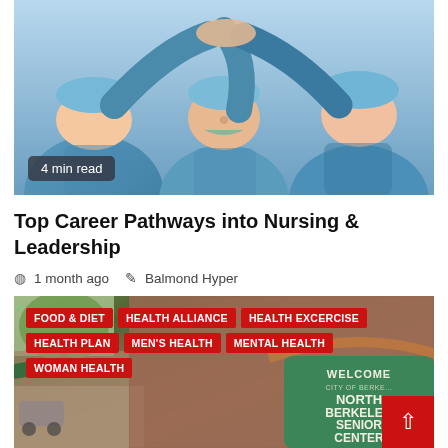[Figure (photo): Healthcare workers in blue scrubs and surgical caps giving a high five, celebrating teamwork in a medical setting. Badge overlay reads '4 min read'.]
Top Career Pathways into Nursing & Leadership
1 month ago  Balmond Hyper
[Figure (photo): Exterior of the North Berkeley Senior Center, a brick building with a green welcome sign. Overlaid with red category tags: FOOD & DIET, HEALTH ALLIANCE, HEALTH EXCERCISE, HEALTH PLAN, MEN'S HEALTH, MENTAL HEALTH, WOMAN HEALTH. Red back-to-top arrow button in bottom-right corner.]